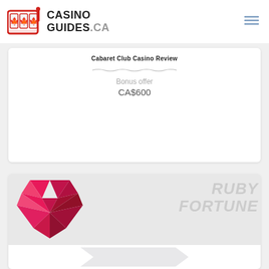[Figure (logo): CasinoGuides.ca logo with slot machine icon and maple leaves, plus hamburger menu icon on the right]
Cabaret Club Casino Review
Bonus offer
CA$600
[Figure (logo): Ruby Fortune casino card with pink diamond gem logo and RUBY FORTUNE text in gray, with PLAY NOW button at bottom]